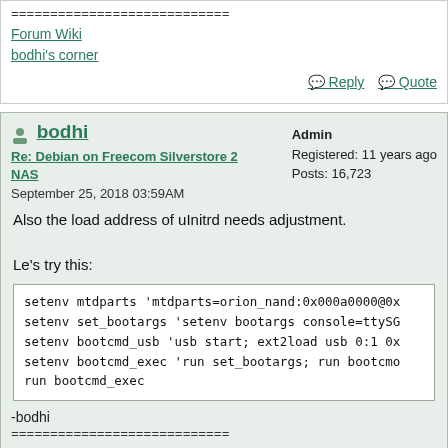============================
Forum Wiki
bodhi's corner
Reply   Quote
bodhi
Admin
Registered: 11 years ago
Posts: 16,723
Re: Debian on Freecom Silverstore 2 NAS
September 25, 2018 03:59AM
Also the load address of uInitrd needs adjustment.
Le's try this:
setenv mtdparts 'mtdparts=orion_nand:0x000a0000@0x
setenv set_bootargs 'setenv bootargs console=ttySG
setenv bootcmd_usb 'usb start; ext2load usb 0:1 0x
setenv bootcmd_exec 'run set_bootargs; run bootcmd
run bootcmd_exec
-bodhi
============================